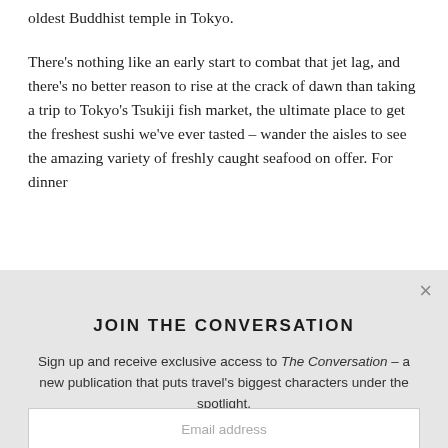oldest Buddhist temple in Tokyo.
There's nothing like an early start to combat that jet lag, and there's no better reason to rise at the crack of dawn than taking a trip to Tokyo's Tsukiji fish market, the ultimate place to get the freshest sushi we've ever tasted – wander the aisles to see the amazing variety of freshly caught seafood on offer. For dinner
JOIN THE CONVERSATION
Sign up and receive exclusive access to The Conversation – a new publication that puts travel's biggest characters under the spotlight.
Email address
SUBSCRIBE